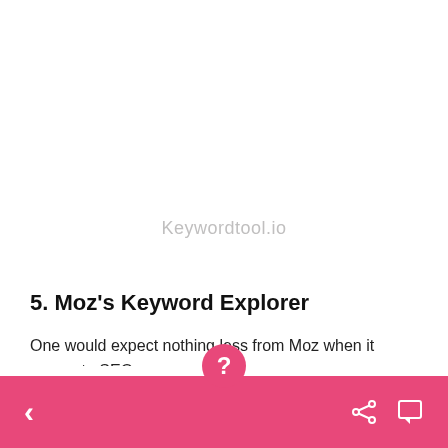[Figure (other): Watermark text reading Keywordtool.io centered on the page]
5. Moz's Keyword Explorer
One would expect nothing less from Moz when it comes to SEO.
Moz's Keyword Explorer offers the standard features of most keyword research tools like search volume, related keywords, and difficulty, but it kicks thing up a
< share comment